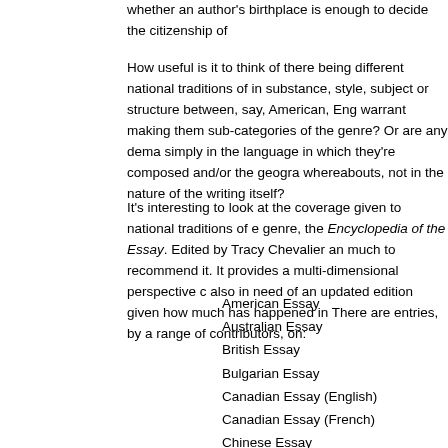whether an author's birthplace is enough to decide the citizenship of
How useful is it to think of there being different national traditions of in substance, style, subject or structure between, say, American, Eng warrant making them sub-categories of the genre? Or are any dema simply in the language in which they're composed and/or the geogra whereabouts, not in the nature of the writing itself?
It's interesting to look at the coverage given to national traditions of e genre, the Encyclopedia of the Essay. Edited by Tracy Chevalier an much to recommend it. It provides a multi-dimensional perspective c also in need of an updated edition given how much has happened in There are entries, by a range of contributors, on:
American Essay
Australian Essay
British Essay
Bulgarian Essay
Canadian Essay (English)
Canadian Essay (French)
Chinese Essay
French Essay
German Essay
Japanese Essay